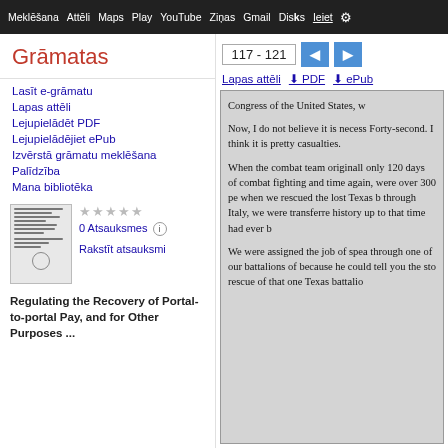Meklēšana  Attēli  Maps  Play  YouTube  Ziņas  Gmail  Disks  Ieiet  ⚙
Grāmatas
Lasīt e-grāmatu
Lapas attēli
Lejupielādēt PDF
Lejupielādējiet ePub
Izvērstā grāmatu meklēšana
Palīdzība
Mana bibliotēka
[Figure (screenshot): Book thumbnail showing lined document pages]
0 Atsauksmes (i)
Rakstīt atsauksmi
Regulating the Recovery of Portal-to-portal Pay, and for Other Purposes ...
117 - 121
Lapas attēli  ↓ PDF  ↓ ePub
Congress of the United States, w

Now, I do not believe it is necess Forty-second. I think it is pretty casualties.

When the combat team originall only 120 days of combat fighting and time again, were over 300 pe when we rescued the lost Texas b through Italy, we were transferre history up to that time had ever b

We were assigned the job of spea through one of our battalions of because he could tell you the sto rescue of that one Texas battalio